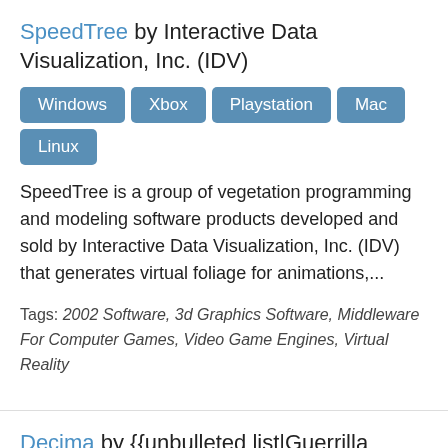SpeedTree by Interactive Data Visualization, Inc. (IDV)
Windows
Xbox
Playstation
Mac
Linux
SpeedTree is a group of vegetation programming and modeling software products developed and sold by Interactive Data Visualization, Inc. (IDV) that generates virtual foliage for animations,...
Tags: 2002 Software, 3d Graphics Software, Middleware For Computer Games, Video Game Engines, Virtual Reality
Decima by {{unbulleted list|Guerrilla Games|Kojima Productions}}
Decima is a proprietary game engine developed by Guerrilla Games, released on November 15, 2013. It has created a ...